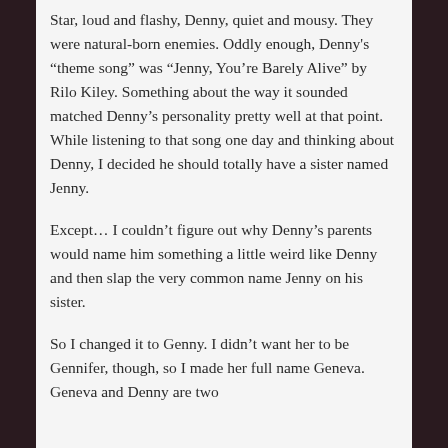Star, loud and flashy, Denny, quiet and mousy. They were natural-born enemies. Oddly enough, Denny's “theme song” was “Jenny, You’re Barely Alive” by Rilo Kiley. Something about the way it sounded matched Denny’s personality pretty well at that point. While listening to that song one day and thinking about Denny, I decided he should totally have a sister named Jenny.
Except… I couldn’t figure out why Denny’s parents would name him something a little weird like Denny and then slap the very common name Jenny on his sister.
So I changed it to Genny. I didn’t want her to be Gennifer, though, so I made her full name Geneva. Geneva and Denny are two